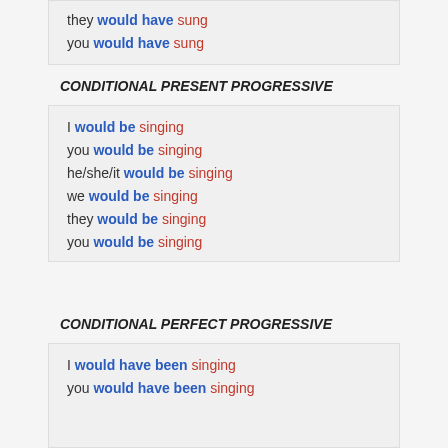they would have sung
you would have sung
CONDITIONAL PRESENT PROGRESSIVE
I would be singing
you would be singing
he/she/it would be singing
we would be singing
they would be singing
you would be singing
CONDITIONAL PERFECT PROGRESSIVE
I would have been singing
you would have been singing